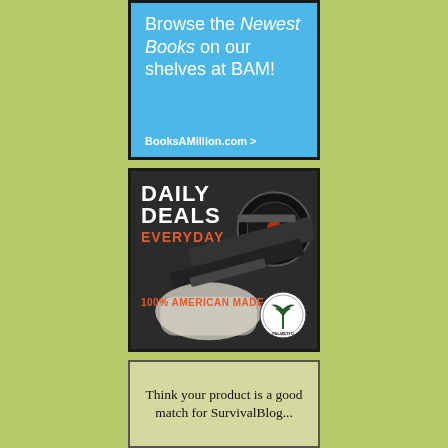[Figure (advertisement): Books A Million advertisement on light blue background. Text reads 'Browse the Newest Books on our shelves at BAM!' with a call to action 'BooksAMillion.com >']
[Figure (advertisement): Palmetto State Armory advertisement with dark background showing a rifle with scope. Text reads 'DAILY DEALS EVERYDAY' in white and orange, '100% AMERICAN MADE' in orange, Palmetto logo at bottom right.]
[Figure (advertisement): SurvivalBlog advertisement on light green background. Text reads 'Think your product is a good match for SurvivalBlog...']